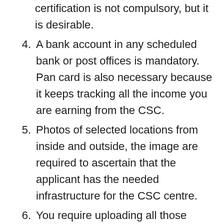certification is not compulsory, but it is desirable.
4. A bank account in any scheduled bank or post offices is mandatory. Pan card is also necessary because it keeps tracking all the income you are earning from the CSC.
5. Photos of selected locations from inside and outside, the image are required to ascertain that the applicant has the needed infrastructure for the CSC centre.
6. You require uploading all those information and documents at the VLE